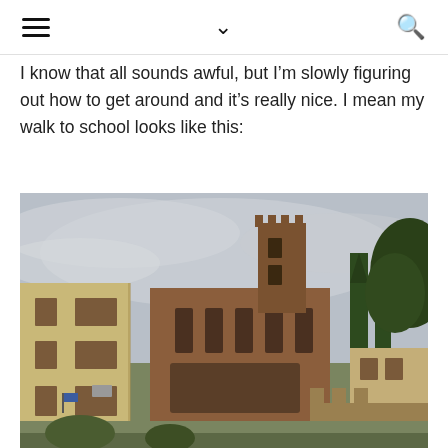navigation bar with hamburger menu, chevron/dropdown, and search icon
I know that all sounds awful, but I’m slowly figuring out how to get around and it’s really nice. I mean my walk to school looks like this:
[Figure (photo): Photo of a street view in Siena, Italy showing a large Gothic brick church (Basilica of San Domenico) towering over yellow-ochre residential buildings on the left, tall cypress trees, and a cloudy grey sky. The scene captures a typical Italian hill town streetscape.]